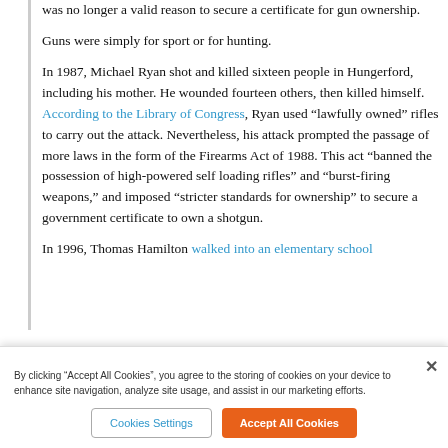was no longer a valid reason to secure a certificate for gun ownership.
Guns were simply for sport or for hunting.
In 1987, Michael Ryan shot and killed sixteen people in Hungerford, including his mother. He wounded fourteen others, then killed himself. According to the Library of Congress, Ryan used “lawfully owned” rifles to carry out the attack. Nevertheless, his attack prompted the passage of more laws in the form of the Firearms Act of 1988. This act “banned the possession of high-powered self loading rifles” and “burst-firing weapons,” and imposed “stricter standards for ownership” to secure a government certificate to own a shotgun.
In 1996, Thomas Hamilton walked into an elementary school
By clicking “Accept All Cookies”, you agree to the storing of cookies on your device to enhance site navigation, analyze site usage, and assist in our marketing efforts.